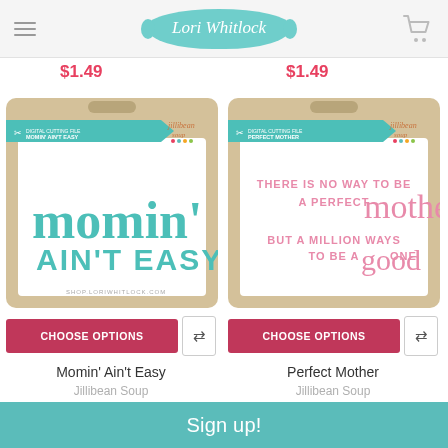Lori Whitlock
$1.49
$1.49
[Figure (photo): Product packaging for Jillibean Soup digital cutting file 'Momin Ain't Easy' showing teal cursive text design on white background]
[Figure (photo): Product packaging for Jillibean Soup digital cutting file 'Perfect Mother' showing pink text quote 'There is no way to be a perfect mother but a million ways to be a good one']
CHOOSE OPTIONS
CHOOSE OPTIONS
Momin' Ain't Easy
Perfect Mother
Jillibean Soup
Jillibean Soup
Sign up!